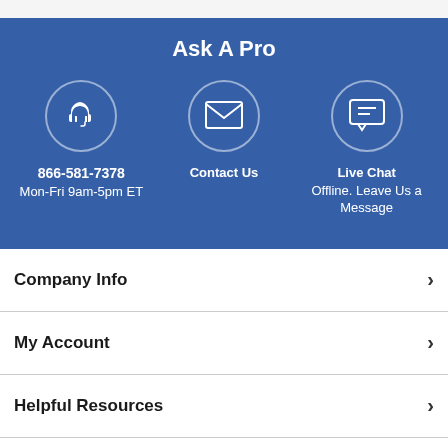Ask A Pro
866-581-7378
Mon-Fri 9am-5pm ET
Contact Us
Live Chat
Offline. Leave Us a Message
Company Info
My Account
Helpful Resources
Shipping & Returns